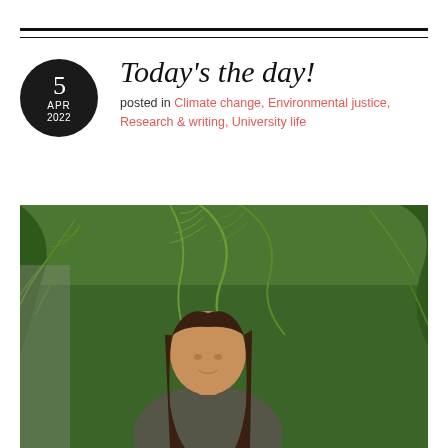Today's the day!
posted in Climate change, Environmental justice, Research & writing, University life
[Figure (photo): A smiling woman with long dark hair standing in front of lush green palm trees outdoors]